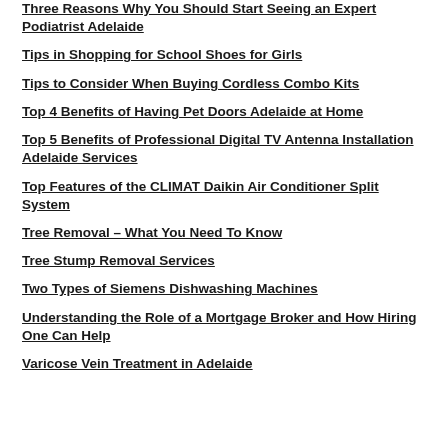Three Reasons Why You Should Start Seeing an Expert Podiatrist Adelaide
Tips in Shopping for School Shoes for Girls
Tips to Consider When Buying Cordless Combo Kits
Top 4 Benefits of Having Pet Doors Adelaide at Home
Top 5 Benefits of Professional Digital TV Antenna Installation Adelaide Services
Top Features of the CLIMAT Daikin Air Conditioner Split System
Tree Removal – What You Need To Know
Tree Stump Removal Services
Two Types of Siemens Dishwashing Machines
Understanding the Role of a Mortgage Broker and How Hiring One Can Help
Varicose Vein Treatment in Adelaide